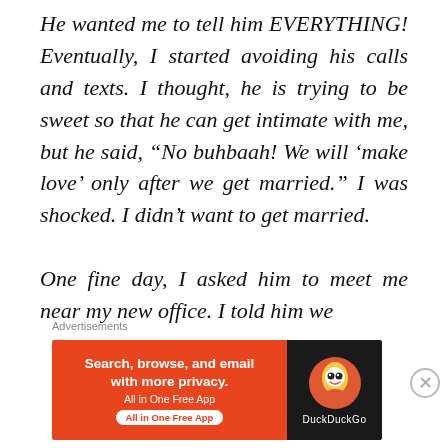He wanted me to tell him EVERYTHING! Eventually, I started avoiding his calls and texts. I thought, he is trying to be sweet so that he can get intimate with me, but he said, “No buhbaah! We will ‘make love’ only after we get married.” I was shocked. I didn’t want to get married.

One fine day, I asked him to meet me near my new office. I told him we
Advertisements
[Figure (other): DuckDuckGo advertisement banner: orange background with text 'Search, browse, and email with more privacy. All in One Free App' and DuckDuckGo logo on dark right panel.]